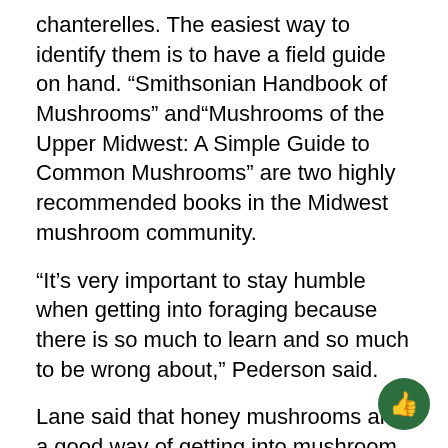chanterelles. The easiest way to identify them is to have a field guide on hand. “Smithsonian Handbook of Mushrooms” and“Mushrooms of the Upper Midwest: A Simple Guide to Common Mushrooms” are two highly recommended books in the Midwest mushroom community.
“It’s very important to stay humble when getting into foraging because there is so much to learn and so much to be wrong about,” Pederson said.
Lane said that honey mushrooms are a good way of getting into mushroom hunting but there is a learning curve to them too. Honey mushrooms have poisonous, possibly deadly look-a-likes. They can also decay internally without looking spoiled externally. That can cause mild food poisoning.
“This year is very heavy with honey mushrooms,” La…